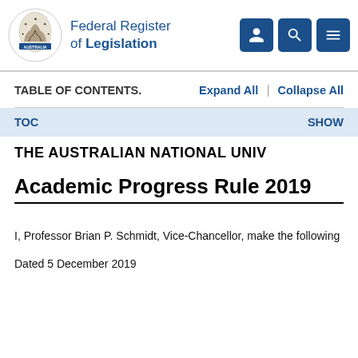Federal Register of Legislation
TABLE OF CONTENTS.    Expand All  |  Collapse All
TOC    SHOW
THE AUSTRALIAN NATIONAL UNIV
Academic Progress Rule 2019
I, Professor Brian P. Schmidt, Vice-Chancellor, make the following ru
Dated 5 December 2019